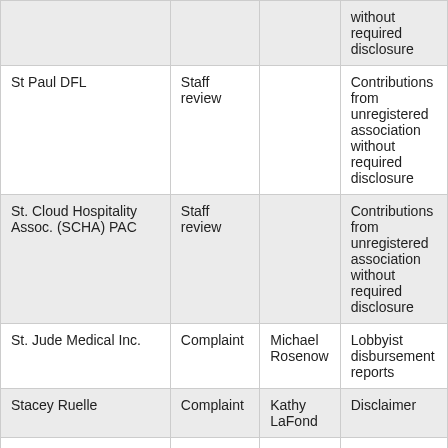|  |  |  |  |
| --- | --- | --- | --- |
|  |  |  | without required disclosure |
| St Paul DFL | Staff review |  | Contributions from unregistered association without required disclosure |
| St. Cloud Hospitality Assoc. (SCHA) PAC | Staff review |  | Contributions from unregistered association without required disclosure |
| St. Jude Medical Inc. | Complaint | Michael Rosenow | Lobbyist disbursement reports |
| Stacey Ruelle | Complaint | Kathy LaFond | Disclaimer |
| State Fund for Economic Growth LLC | Complaint | Common Cause | Failure to register |